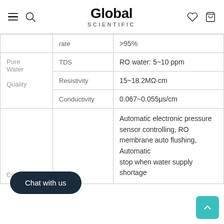Global Scientific
| Category | Spec | Value |
| --- | --- | --- |
|  | rate | >95% |
| Pure Water Quality | TDS | RO water: 5~10 ppm |
|  | Resistivity | 15~18.2MΩ·cm |
|  | Conductivity | 0.067~0.055μs/cm |
| Control |  | Automatic electronic pressure sensor controlling, RO membrane auto flushing, Automatic stop when water supply shortage |